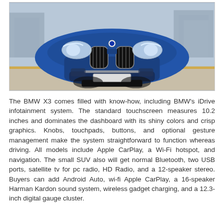[Figure (photo): Front-facing view of a blue BMW X3 SUV parked on a gray surface, with urban buildings visible in the blurred background. The vehicle's large kidney grille, LED headlights, and front bumper are prominently displayed.]
The BMW X3 comes filled with know-how, including BMW's iDrive infotainment system. The standard touchscreen measures 10.2 inches and dominates the dashboard with its shiny colors and crisp graphics. Knobs, touchpads, buttons, and optional gesture management make the system straightforward to function whereas driving. All models include Apple CarPlay, a Wi-Fi hotspot, and navigation. The small SUV also will get normal Bluetooth, two USB ports, satellite tv for pc radio, HD Radio, and a 12-speaker stereo. Buyers can add Android Auto, wi-fi Apple CarPlay, a 16-speaker Harman Kardon sound system, wireless gadget charging, and a 12.3-inch digital gauge cluster.